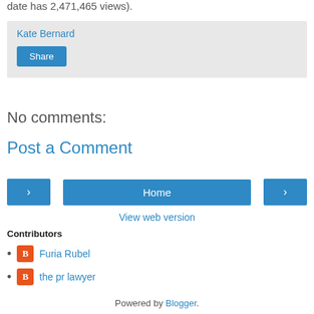date has 2,471,465 views).
Kate Bernard
Share
No comments:
Post a Comment
Home
View web version
Contributors
Furia Rubel
the pr lawyer
Powered by Blogger.